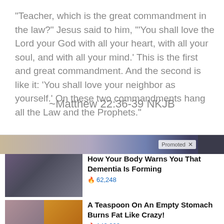"Teacher, which is the great commandment in the law?" Jesus said to him, "'You shall love the Lord your God with all your heart, with all your soul, and with all your mind.' This is the first and great commandment. And the second is like it: 'You shall love your neighbor as yourself.' On these two commandments hang all the Law and the Prophets."
~Matthew 22:36-39 NKJB
[Figure (photo): Promoted advertisement banner with gradient background and close button]
[Figure (photo): Advertisement: How Your Body Warns You That Dementia Is Forming - 62,248 views]
[Figure (photo): Advertisement: A Teaspoon On An Empty Stomach Burns Fat Like Crazy! - 142,002 views]